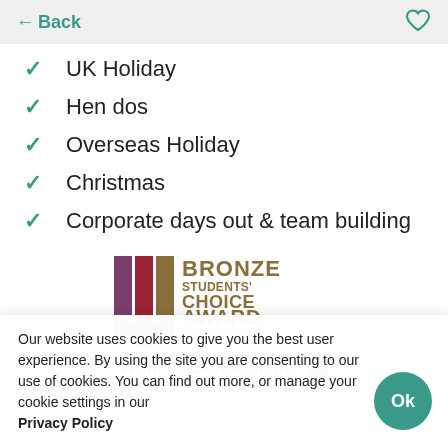← Back
UK Holiday
Hen dos
Overseas Holiday
Christmas
Corporate days out & team building
[Figure (logo): Bronze Students' Choice Award badge — Rated Excellent on CraftCourses.com]
What does this mean? ℹ
Our website uses cookies to give you the best user experience. By using the site you are consenting to our use of cookies. You can find out more, or manage your cookie settings in our Privacy Policy